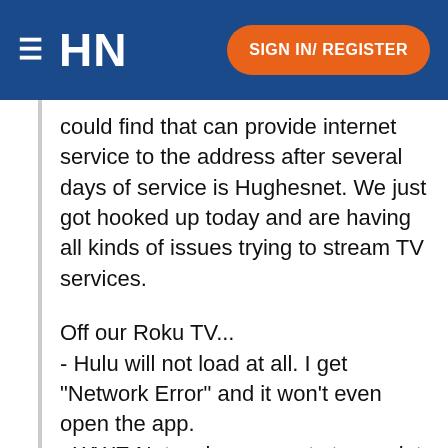HN   SIGN IN/ REGISTER
could find that can provide internet service to the address after several days of service is Hughesnet.  We just got hooked up today and are having all kinds of issues trying to stream TV services.
Off our Roku TV...
- Hulu will not load at all.  I get "Network Error" and it won't even open the app.
- WWE Network never gets to a point where I even know what the issues are.  It never gets off the loading screen.
- Disney+ buffers so bad that it only stays on